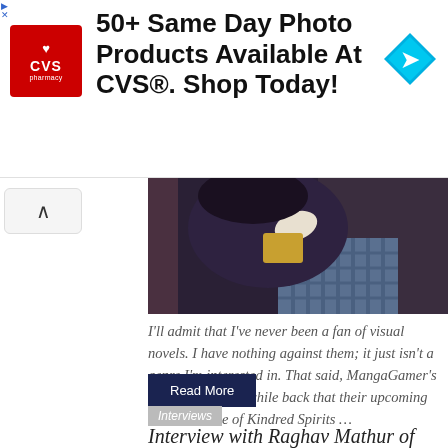[Figure (infographic): CVS Pharmacy advertisement banner: red CVS logo on left, text '50+ Same Day Photo Products Available At CVS®. Shop Today!' in center, blue navigation diamond icon on right]
[Figure (illustration): Anime-style illustration showing two characters in an embrace, one wearing a plaid skirt and the other in dark clothing, cropped view]
I'll admit that I've never been a fan of visual novels. I have nothing against them; it just isn't a genre I'm interested in. That said, MangaGamer's announcement a while back that their upcoming Steam release of Kindred Spirits …
Read More
Interviews
Interview with Raghav Mathur of